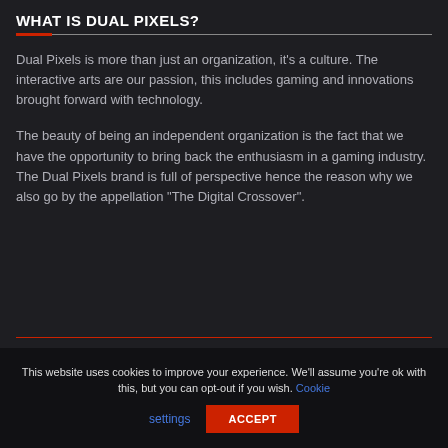WHAT IS DUAL PIXELS?
Dual Pixels is more than just an organization, it's a culture. The interactive arts are our passion, this includes gaming and innovations brought forward with technology.
The beauty of being an independent organization is the fact that we have the opportunity to bring back the enthusiasm in a gaming industry. The Dual Pixels brand is full of perspective hence the reason why we also go by the appellation "The Digital Crossover".
This website uses cookies to improve your experience. We'll assume you're ok with this, but you can opt-out if you wish. Cookie settings ACCEPT